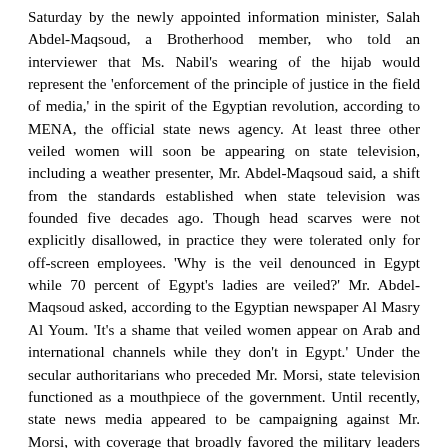Saturday by the newly appointed information minister, Salah Abdel-Maqsoud, a Brotherhood member, who told an interviewer that Ms. Nabil's wearing of the hijab would represent the 'enforcement of the principle of justice in the field of media,' in the spirit of the Egyptian revolution, according to MENA, the official state news agency. At least three other veiled women will soon be appearing on state television, including a weather presenter, Mr. Abdel-Maqsoud said, a shift from the standards established when state television was founded five decades ago. Though head scarves were not explicitly disallowed, in practice they were tolerated only for off-screen employees. 'Why is the veil denounced in Egypt while 70 percent of Egypt's ladies are veiled?' Mr. Abdel-Maqsoud asked, according to the Egyptian newspaper Al Masry Al Youm. 'It's a shame that veiled women appear on Arab and international channels while they don't in Egypt.' Under the secular authoritarians who preceded Mr. Morsi, state television functioned as a mouthpiece of the government. Until recently, state news media appeared to be campaigning against Mr. Morsi, with coverage that broadly favored the military leaders who have vied for influence with the Islamist president. In a move that consolidated his power, Mr.